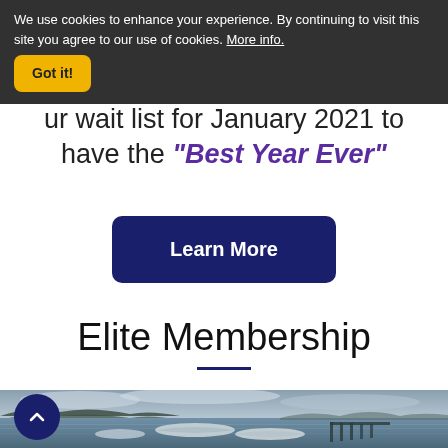We use cookies to enhance your experience. By continuing to visit this site you agree to our use of cookies. More info.
Got it!
ur wait list for January 2021 to have the "Best Year Ever"
Learn More
Elite Membership
[Figure (photo): A calm waterscape at dusk showing small boats moored near a wooden dock, with a hilly treeline and overcast sky in the background. Blue-grey tones throughout.]